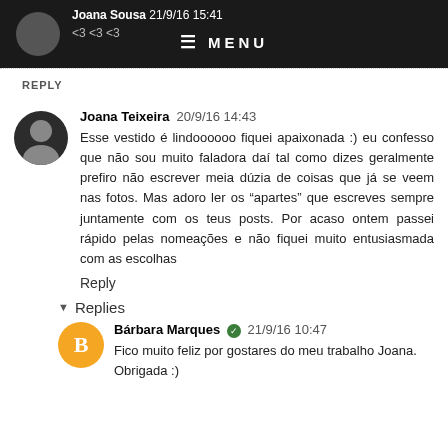≡ MENU — Joana Sousa 21/9/16 15:41 <3 <3 <3
REPLY
Joana Teixeira 20/9/16 14:43 — Esse vestido é lindoooooo fiquei apaixonada :) eu confesso que não sou muito faladora daí tal como dizes geralmente prefiro não escrever meia dúzia de coisas que já se veem nas fotos. Mas adoro ler os "apartes" que escreves sempre juntamente com os teus posts. Por acaso ontem passei rápido pelas nomeações e não fiquei muito entusiasmada com as escolhas
Reply
▾ Replies
Bárbara Marques ✓ 21/9/16 10:47 — Fico muito feliz por gostares do meu trabalho Joana. Obrigada :)